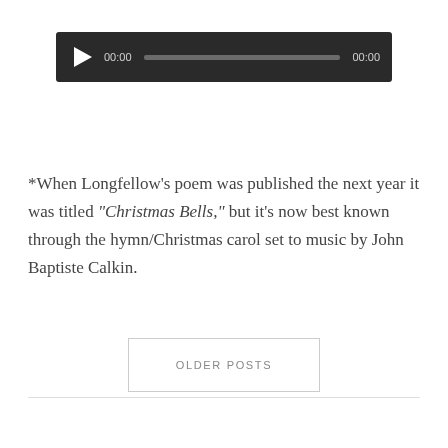[Figure (screenshot): Audio player widget with dark background, play button (triangle icon), timestamp '00:00', progress bar, and end time '00:00']
*When Longfellow's poem was published the next year it was titled “Christmas Bells,” but it’s now best known through the hymn/Christmas carol set to music by John Baptiste Calkin.
OLDER POSTS